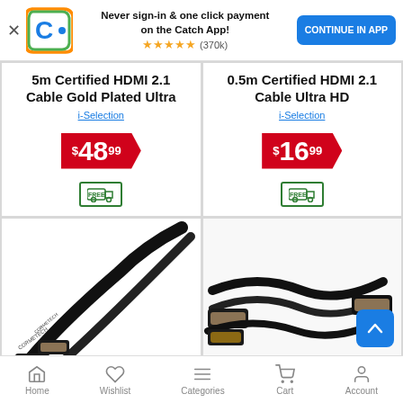Never sign-in & one click payment on the Catch App! ★★★★★ (370k) CONTINUE IN APP
5m Certified HDMI 2.1 Cable Gold Plated Ultra
i-Selection
$48.99
FREE shipping
0.5m Certified HDMI 2.1 Cable Ultra HD
i-Selection
$16.99
FREE shipping
[Figure (photo): HDMI cable with gold connectors, Cormetech brand visible]
[Figure (photo): Two HDMI cable connectors with gold tips on white background]
Home | Wishlist | Categories | Cart | Account